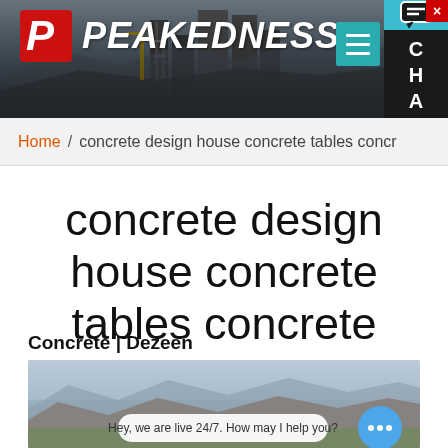[Figure (screenshot): Peakedness website header with logo and industrial concrete plant background image. Dark background with company name PEAKEDNESS in white italic bold text with red P arrow logo on left. Hamburger menu icon and CHAT sidebar on right.]
Home / concrete design house concrete tables concr…
concrete design house concrete tables concrete
Concrete | Dezeen
[Figure (photo): Aerial photograph of a valley with mountains in background, showing a town or industrial facility, misty/hazy landscape.]